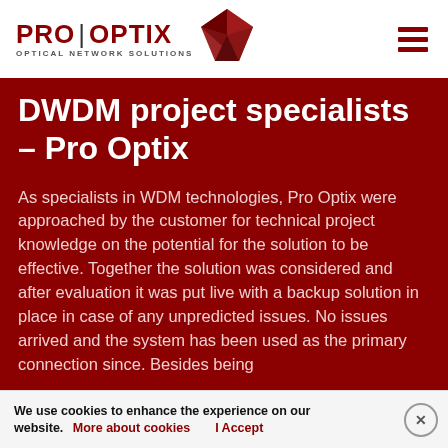[Figure (logo): Pro Optix Optical Network Solutions logo with dark red diamond/arrow shape icon and hamburger menu icon]
DWDM project specialists – Pro Optix
As specialists in WDM technologies, Pro Optix were approached by the customer for technical project knowledge on the potential for the solution to be effective. Together the solution was considered and after evaluation it was put live with a backup solution in place in case of any unpredicted issues. No issues arrived and the system has been used as the primary connection since. Besides being
We use cookies to enhance the experience on our website. More about cookies | I Accept